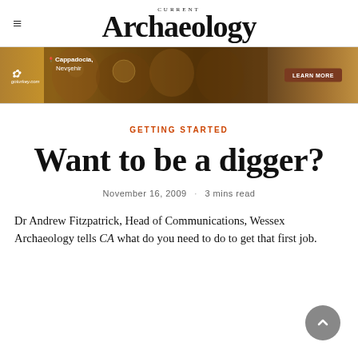CURRENT Archaeology
[Figure (photo): Advertisement banner for Turkey tourism featuring Cappadocia, Nevşehir with ornate cave church frescoes and a Learn More button]
GETTING STARTED
Want to be a digger?
November 16, 2009 · 3 mins read
Dr Andrew Fitzpatrick, Head of Communications, Wessex Archaeology tells CA what do you need to do to get that first job.